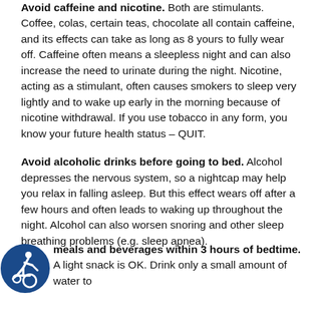Avoid caffeine and nicotine. Both are stimulants. Coffee, colas, certain teas, chocolate all contain caffeine, and its effects can take as long as 8 yours to fully wear off. Caffeine often means a sleepless night and can also increase the need to urinate during the night. Nicotine, acting as a stimulant, often causes smokers to sleep very lightly and to wake up early in the morning because of nicotine withdrawal. If you use tobacco in any form, you know your future health status – QUIT.
Avoid alcoholic drinks before going to bed. Alcohol depresses the nervous system, so a nightcap may help you relax in falling asleep. But this effect wears off after a few hours and often leads to waking up throughout the night. Alcohol can also worsen snoring and other sleep breathing problems (e.g. sleep apnea).
meals and beverages within 3 hours of bedtime. A light snack is OK. Drink only a small amount of water to